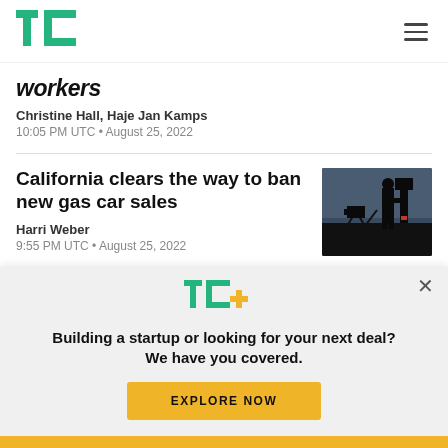TechCrunch logo and navigation
workers
Christine Hall, Haje Jan Kamps
10:05 PM UTC • August 25, 2022
California clears the way to ban new gas car sales
[Figure (photo): Dark silhouette photo of person at gas pump or camera equipment]
Harri Weber
9:55 PM UTC • August 25, 2022
Building a startup or looking for your next deal? We have you covered.
EXPLORE NOW